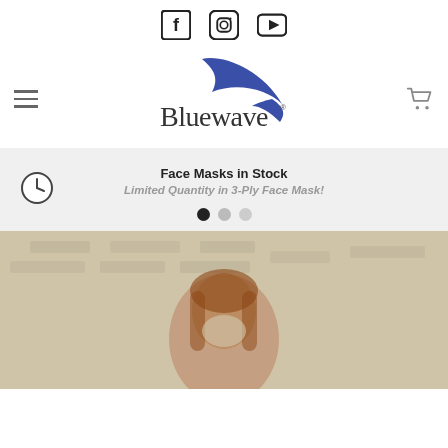[Figure (logo): Social media icons: Facebook, Instagram, YouTube]
[Figure (logo): Bluewave logo with blue wave/swoosh graphic and stylized text]
Face Masks in Stock
Limited Quantity in 3-Ply Face Mask!
[Figure (photo): Blurred photo of a person wearing a face mask, beige/brown tones, brick wall background]